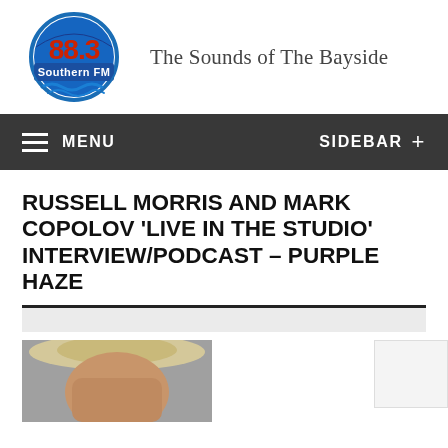[Figure (logo): 88.3 Southern FM radio station logo — circular badge with '88.3' in red/orange text and 'Southern FM' in white on blue band, with blue wave graphic at bottom]
The Sounds of The Bayside
MENU  SIDEBAR +
RUSSELL MORRIS AND MARK COPOLOV 'LIVE IN THE STUDIO' INTERVIEW/PODCAST – PURPLE HAZE
[Figure (photo): Partial photo of a man wearing a wide-brimmed cream/straw hat, only top portion of face visible, cropped at bottom of page]